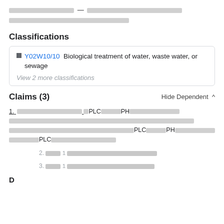[redacted] — [redacted long text redacted]
Classifications
Y02W10/10  Biological treatment of water, waste water, or sewage
View 2 more classifications
Claims (3)
1. [redacted claim text containing PLC and PH references, multiple sentences]
2. [redacted dependent claim referencing claim 1]
3. [redacted dependent claim referencing claim 1]
Description